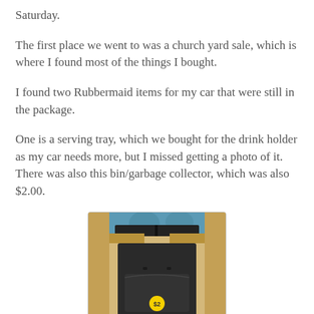Saturday.
The first place we went to was a church yard sale, which is where I found most of the things I bought.
I found two Rubbermaid items for my car that were still in the package.
One is a serving tray, which we bought for the drink holder as my car needs more, but I missed getting a photo of it. There was also this bin/garbage collector, which was also $2.00.
[Figure (photo): A Rubbermaid car bin/garbage collector still in its packaging, viewed from the front inside a cardboard box. A yellow $2.00 price sticker is visible on the front of the black bin. Teal/blue decorative background visible at top.]